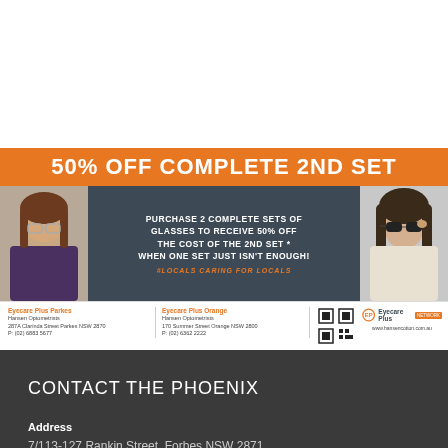[Figure (photo): White background top area above advertisement]
[Figure (infographic): Eyecare Plus advertisement banner. Orange header bar reading '50% OFF COMPLETE 2ND SET'. Dark center panel with text about purchasing 2 complete sets of glasses to receive 50% off the second set, with tagline #LOCALS CARING FOR LOCALS. Photos of two women wearing glasses on either side. Footer with location info for Eyecare Plus Parkes and Eyecare Plus Orange, QR code, and logo.]
CONTACT THE PHOENIX
Address
7/113-127 Rankin Street, Forbes NSW 2871